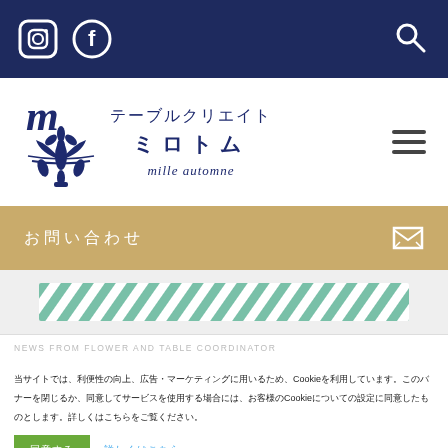[Instagram icon] [Facebook icon] [Search icon] — Navigation bar
[Figure (logo): テーブルクリエイト ミロトム mille automne logo with ornate blue fleur-de-lis emblem]
お問い合わせ [envelope icon] — Gold CTA bar
[Figure (illustration): Diagonal green and white stripe pattern banner]
NEWS FROM FLOWER AND TABLE COORDINATOR
当サイトでは、利便性の向上、広告・マーケティングに用いるため、Cookieを利用しています。このバナーを閉じるか、同意してサービスを使用する場合には、お客様のCookieについての設定に同意したものとします。詳しくはこちらをご覧ください。
同意する　詳しくはこちら